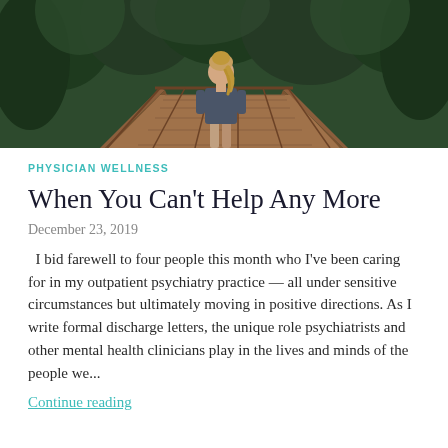[Figure (photo): Woman with ponytail seen from behind, standing on a wooden bridge walkway surrounded by green forest trees.]
PHYSICIAN WELLNESS
When You Can't Help Any More
December 23, 2019
I bid farewell to four people this month who I've been caring for in my outpatient psychiatry practice — all under sensitive circumstances but ultimately moving in positive directions. As I write formal discharge letters, the unique role psychiatrists and other mental health clinicians play in the lives and minds of the people we...
Continue reading